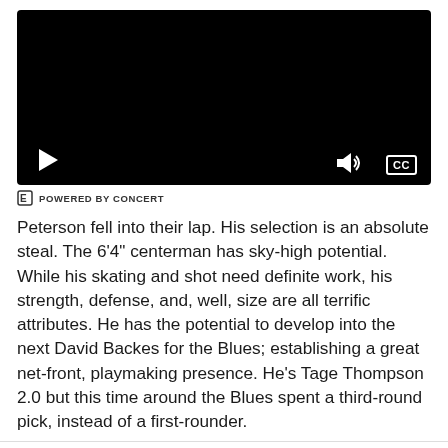[Figure (screenshot): Video player with black background, play button at bottom left, volume icon and CC button at bottom right]
POWERED BY CONCERT
Peterson fell into their lap. His selection is an absolute steal. The 6'4" centerman has sky-high potential. While his skating and shot need definite work, his strength, defense, and, well, size are all terrific attributes. He has the potential to develop into the next David Backes for the Blues; establishing a great net-front, playmaking presence. He’s Tage Thompson 2.0 but this time around the Blues spent a third-round pick, instead of a first-rounder.
[Figure (logo): Site logo circle emblem and social media icons (Twitter bird and Facebook f)]